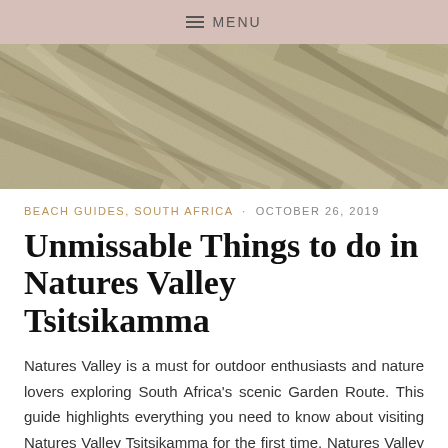MENU
[Figure (photo): Close-up texture photo of animal fur or grass, showing diagonal stripes of gray, beige, and tan tones.]
BEACH GUIDES, SOUTH AFRICA · OCTOBER 26, 2019
Unmissable Things to do in Natures Valley Tsitsikamma
Natures Valley is a must for outdoor enthusiasts and nature lovers exploring South Africa's scenic Garden Route. This guide highlights everything you need to know about visiting Natures Valley Tsitsikamma for the first time. Natures Valley (also called Nat...